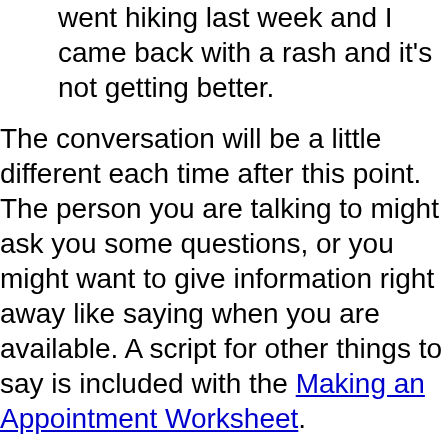went hiking last week and I came back with a rash and it's not getting better.
The conversation will be a little different each time after this point. The person you are talking to might ask you some questions, or you might want to give information right away like saying when you are available. A script for other things to say is included with the Making an Appointment Worksheet.
Back to Top
S